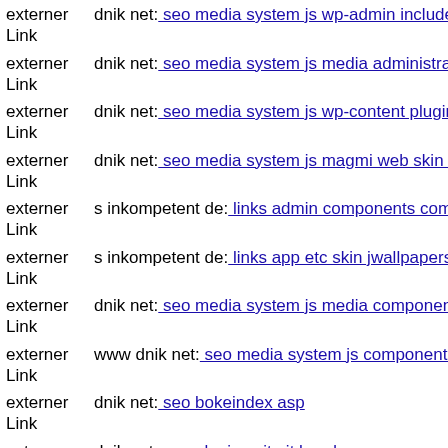externer Link dnik net: seo media system js wp-admin includes plugins co
externer Link dnik net: seo media system js media administrator compone
externer Link dnik net: seo media system js wp-content plugins formcraft
externer Link dnik net: seo media system js magmi web skin wp-content t
externer Link s inkompetent de: links admin components com b2jcontact
externer Link s inkompetent de: links app etc skin jwallpapers files pluplo
externer Link dnik net: seo media system js media components com b2jco
externer Link www dnik net: seo media system js components com acyma
externer Link dnik net: seo bokeindex asp
externer Link dnik net: seo plugins git git head
externer Link www mail inkompetent de: links administrator components
externer